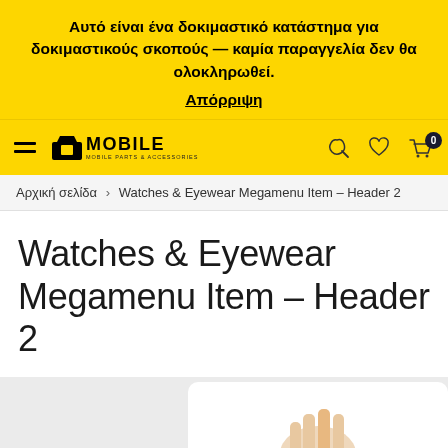Αυτό είναι ένα δοκιμαστικό κατάστημα για δοκιμαστικούς σκοπούς — καμία παραγγελία δεν θα ολοκληρωθεί. Απόρριψη
[Figure (logo): Mobile parts and accessories logo with shopping bag icon]
Αρχική σελίδα > Watches & Eyewear Megamenu Item – Header 2
Watches & Eyewear Megamenu Item – Header 2
[Figure (photo): Partial product photo visible at bottom of page]